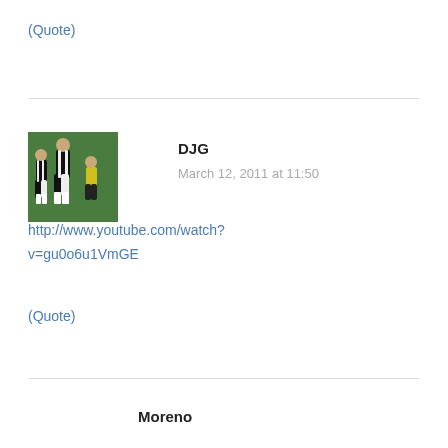(Quote)
[Figure (photo): Avatar image of a soccer player in black and white striped jersey on a field]
DJG
March 12, 2011 at 11:50
http://www.youtube.com/watch?v=gu0o6u1VmGE
(Quote)
Moreno